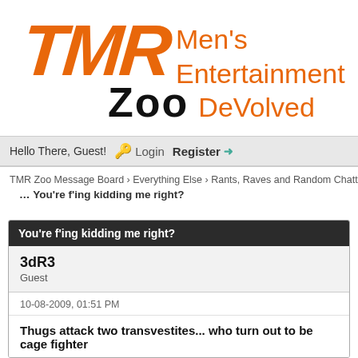[Figure (logo): TMR Zoo logo with orange stylized TMR text, black ZOO text, and orange handwritten tagline 'Men's Entertainment DeVolved']
Hello There, Guest! 🔑 Login  Register →
TMR Zoo Message Board › Everything Else › Rants, Raves and Random Chatter
You're f'ing kidding me right?
You're f'ing kidding me right?
3dR3
Guest
10-08-2009, 01:51 PM
Thugs attack two transvestites... who turn out to be cage fighter